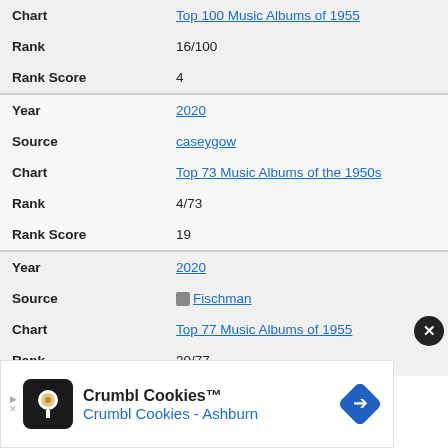| Field | Value |
| --- | --- |
| Chart | Top 100 Music Albums of 1955 |
| Rank | 16/100 |
| Rank Score | 4 |
| Year | 2020 |
| Source | caseygow |
| Chart | Top 73 Music Albums of the 1950s |
| Rank | 4/73 |
| Rank Score | 19 |
| Year | 2020 |
| Source | Fischman |
| Chart | Top 77 Music Albums of 1955 |
| Rank | 30/77 |
[Figure (infographic): Crumbl Cookies advertisement banner with logo, name, and map pin icon reading 'Crumbl Cookies - Ashburn']